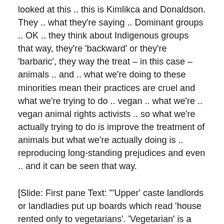looked at this .. this is Kimlikca and Donaldson. They .. what they're saying .. Dominant groups .. OK .. they think about Indigenous groups that way, they're 'backward' or they're 'barbaric', they way the treat – in this case – animals .. and .. what we're doing to these minorities mean their practices are cruel and what we're trying to do  .. vegan .. what we're .. vegan animal rights activists .. so what we're actually trying to do is improve the treatment of animals but what we're actually doing is .. reproducing long-standing prejudices and even .. and it can be seen that way.
[Slide: First pane Text: "'Upper' caste landlords or landladies put up boards which read 'house rented only to vegetarians'. 'Vegetarian' is a synonym for 'Brahmin', and this expression is used to drive away all Dalitbahujans from their localities" – why I am not a Hindu, Kancha Ilaiah. Image caption: "House near VIT for rent VEGETARIANS only. Image: A nice house, with a tree...